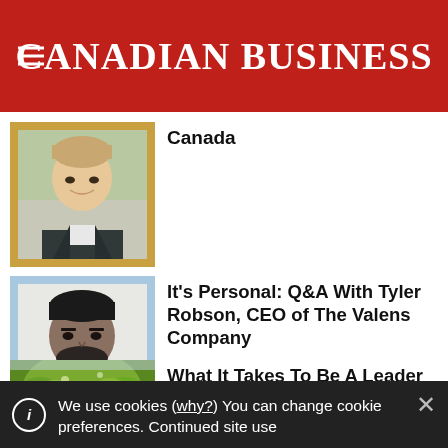CANADIAN BUSINESS
Canada
It's Personal: Q&A With Tyler Robson, CEO of The Valens Company
What It Takes To Be A Leader In Sustainability
We use cookies (why?) You can change cookie preferences. Continued site use